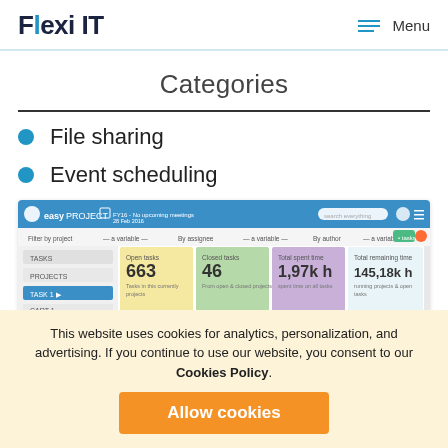Flexi IT  Menu
Categories
File sharing
Event scheduling
[Figure (screenshot): Screenshot of EasyProject dashboard showing Open tasks: 663, Closed tasks: 46, Total spent time: 1,97k h, Total remaining time: 145,18k h]
This website uses cookies for analytics, personalization, and advertising. If you continue to use our website, you consent to our Cookies Policy.
Allow cookies